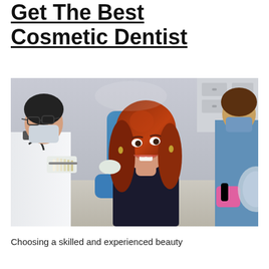Get The Best Cosmetic Dentist
[Figure (photo): A woman with long red hair sitting in a dental chair smiling, while a dentist in white coat and gloves holds a tooth shade guide near her mouth, and a dental assistant in blue scrubs and pink gloves works beside her in a dental office.]
Choosing a skilled and experienced beauty